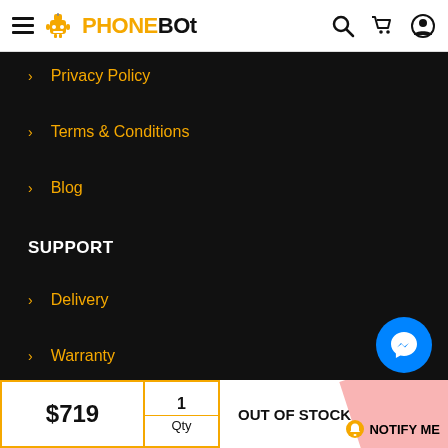PHONEBOT
Privacy Policy
Terms & Conditions
Blog
SUPPORT
Delivery
Warranty
Returns
$719  1 Qty  OUT OF STOCK